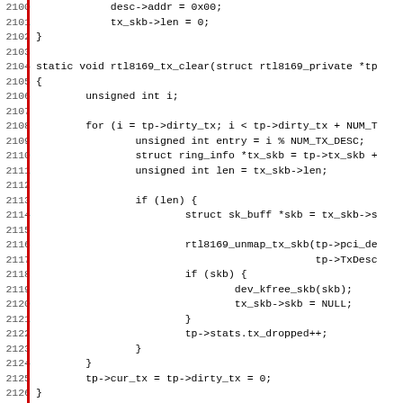[Figure (screenshot): Source code listing in C showing lines 2100-2131 of a Linux network driver (rtl8169), including rtl8169_tx_clear and rtl8169_schedule_work functions, displayed with line numbers and a red vertical bar on the left margin.]